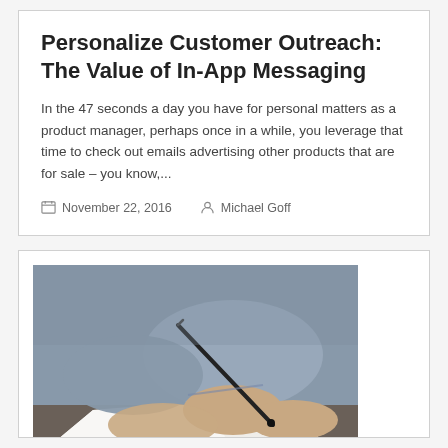Personalize Customer Outreach: The Value of In-App Messaging
In the 47 seconds a day you have for personal matters as a product manager, perhaps once in a while, you leverage that time to check out emails advertising other products that are for sale – you know,...
November 22, 2016   Michael Goff
[Figure (photo): A person wearing a grey shirt writing on white paper with a black pen, photographed from above at an angle, with a dark wooden desk background.]